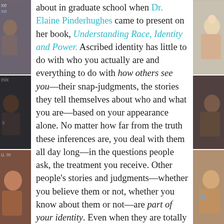[Figure (photo): Left strip of three portrait photos of diverse people]
[Figure (photo): Right strip of three portrait photos of diverse people]
about in graduate school when Dr. Elaine Pinderhughes came to present on her book, Understanding Race, Identity and Power. Ascribed identity has little to do with who you actually are and everything to do with how others see you—their snap-judgments, the stories they tell themselves about who and what you are—based on your appearance alone. No matter how far from the truth these inferences are, you deal with them all day long—in the questions people ask, the treatment you receive. Other people's stories and judgments—whether you believe them or not, whether you know about them or not—are part of your identity. Even when they are totally false. It's that flicker of here-we-